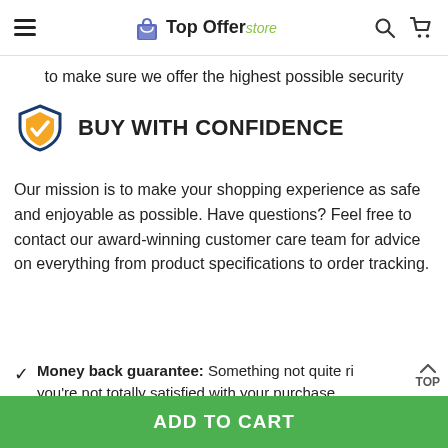Top Offer store
to make sure we offer the highest possible security
BUY WITH CONFIDENCE
Our mission is to make your shopping experience as safe and enjoyable as possible. Have questions? Feel free to contact our award-winning customer care team for advice on everything from product specifications to order tracking.
Money back guarantee: Something not quite ri you're not totally satisfied with your purchase,
ADD TO CART